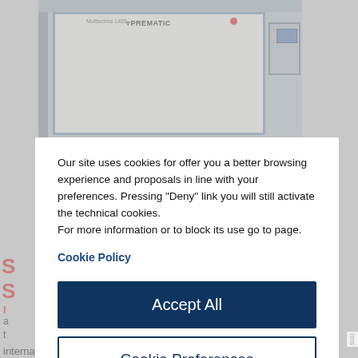[Figure (photo): Industrial machine (likely a thermal/combustion system) with white enclosure, blue frame, PREMATIC or similar brand label, red indicator light, and a side-mounted control panel with screen. Photo taken in an industrial facility.]
Our site uses cookies for offer you a better browsing experience and proposals in line with your preferences. Pressing "Deny" link you will still activate the technical cookies.
For more information or to block its use go to page.
Cookie Policy
Accept All
Cookie Preferences
Deny
Powered by NicoCookies
international emission norms strict compliance.